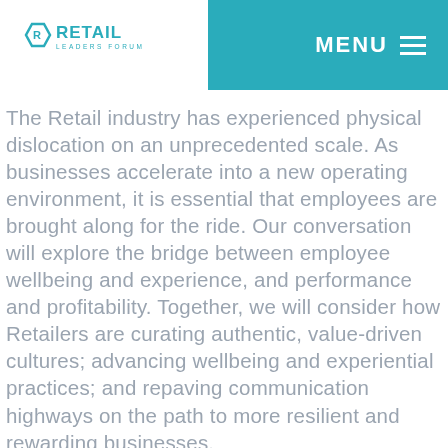Retail Leaders Forum | MENU
The Retail industry has experienced physical dislocation on an unprecedented scale. As businesses accelerate into a new operating environment, it is essential that employees are brought along for the ride. Our conversation will explore the bridge between employee wellbeing and experience, and performance and profitability. Together, we will consider how Retailers are curating authentic, value-driven cultures; advancing wellbeing and experiential practices; and repaving communication highways on the path to more resilient and rewarding businesses.